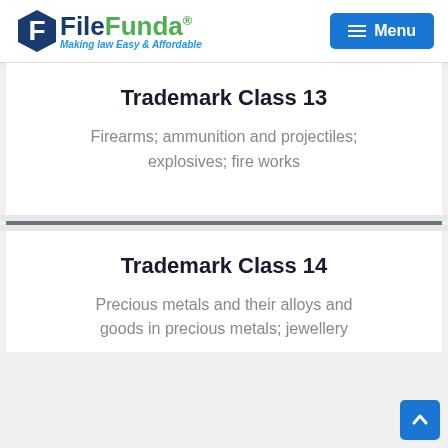FileFunda® — Making Law Easy & Affordable — Menu
Trademark Class 13
Firearms; ammunition and projectiles; explosives; fire works
Trademark Class 14
Precious metals and their alloys and goods in precious metals; jewellery